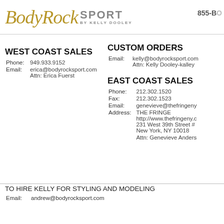BodyRock SPORT BY KELLY DOOLEY   855-BC
WEST COAST SALES
Phone: 949.933.9152
Email: erica@bodyrocksport.com
Attn: Erica Fuerst
CUSTOM ORDERS
Email: kelly@bodyrocksport.com
Attn: Kelly Dooley-kalley
EAST COAST SALES
Phone: 212.302.1520
Fax: 212.302.1523
Email: genevieve@thefringeny...
Address: THE FRINGE
http://www.thefringeny.c...
231 West 39th Street #...
New York, NY 10018
Attn: Genevieve Anders...
TO HIRE KELLY FOR STYLING AND MODELING
Email: andrew@bodyrocksport.com